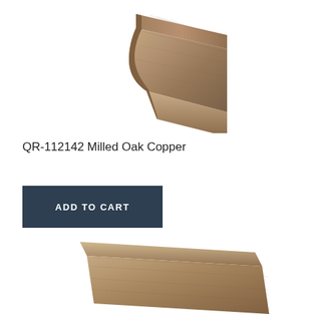[Figure (photo): Quarter round molding piece in Milled Oak Copper finish, warm brown wood texture, angled view showing the curved profile, positioned in upper portion of page]
QR-112142 Milled Oak Copper
ADD TO CART
[Figure (photo): Quarter round molding piece in similar warm brown wood finish, angled view, partially visible at bottom of page]